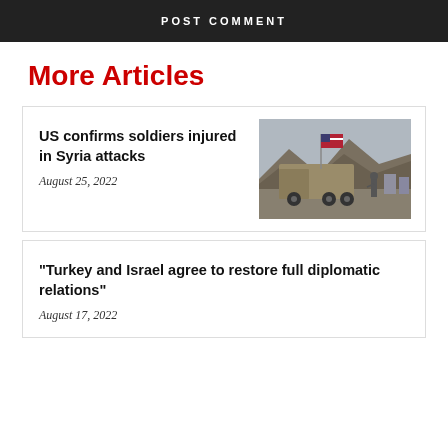POST COMMENT
More Articles
US confirms soldiers injured in Syria attacks
August 25, 2022
[Figure (photo): US military armored vehicle with American flag, soldier walking nearby, mountains in background]
“Turkey and Israel agree to restore full diplomatic relations”
August 17, 2022